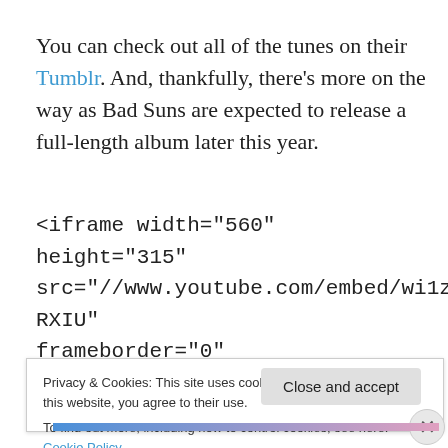You can check out all of the tunes on their Tumblr. And, thankfully, there's more on the way as Bad Suns are expected to release a full-length album later this year.
<iframe width="560" height="315" src="//www.youtube.com/embed/wi1zMj-RXIU" frameborder="0" allowfullscreen>
Privacy & Cookies: This site uses cookies. By continuing to use this website, you agree to their use.
To find out more, including how to control cookies, see here: Cookie Policy